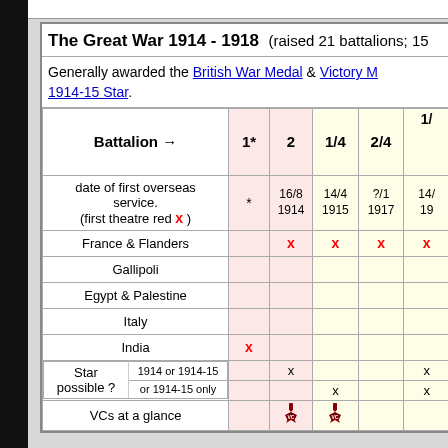The Great War 1914 - 1918 (raised 21 battalions; 15...)
Generally awarded the British War Medal & Victory M... 1914-15 Star.
| Battalion → | 1* | 2 | 1/4 | 2/4 | 1/... |
| --- | --- | --- | --- | --- | --- |
| date of first overseas service. (first theatre red x) | * | 16/8 1914 | 14/4 1915 | ?/1 1917 | 14/ 19... |
| France & Flanders |  | x | x | x | x |
| Gallipoli |  |  |  |  |  |
| Egypt & Palestine |  |  |  |  |  |
| Italy |  |  |  |  |  |
| India | x |  |  |  |  |
| Star possible ? 1914 or 1914-15 |  | x |  |  | x |
| Star possible ? or 1914-15 only |  |  | x |  | x |
| VCs at a glance |  | VC medal | VC medal |  |  |